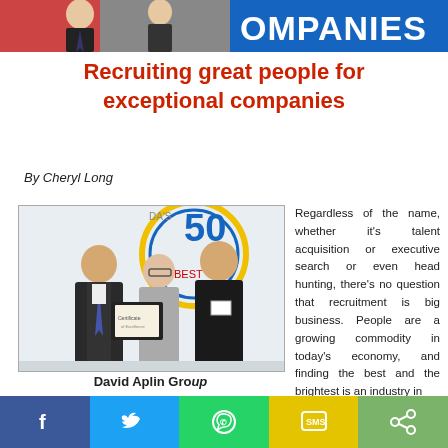[Figure (photo): Top banner showing partial image of people and text 'OMPANIES' on blue background]
Recruiting great people for exceptional companies
By Cheryl Long
[Figure (photo): Photo of three people standing in front of a Canada's Top 50 banner, holding a framed award certificate]
David Aplin Group (partial, cut off)
Regardless of the name, whether it's talent acquisition or executive search or even head hunting, there's no question that recruitment is big business. People are a growing commodity in today's economy, and finding the best and the brightest is an industry in
[Figure (infographic): Social sharing toolbar with Facebook, Twitter, WhatsApp, SMS, and share buttons]